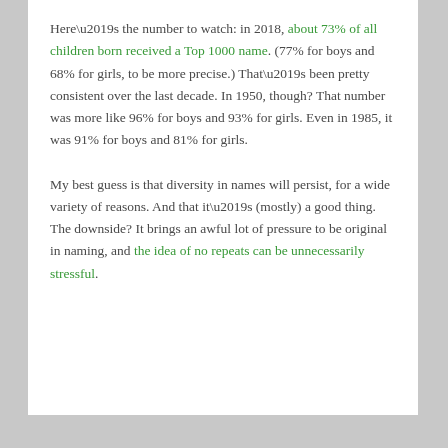Here’s the number to watch: in 2018, about 73% of all children born received a Top 1000 name. (77% for boys and 68% for girls, to be more precise.) That’s been pretty consistent over the last decade. In 1950, though? That number was more like 96% for boys and 93% for girls. Even in 1985, it was 91% for boys and 81% for girls.
My best guess is that diversity in names will persist, for a wide variety of reasons. And that it’s (mostly) a good thing. The downside? It brings an awful lot of pressure to be original in naming, and the idea of no repeats can be unnecessarily stressful.